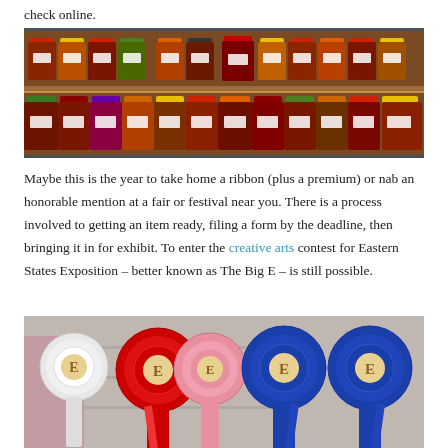check online.
[Figure (photo): Rows of labeled jam and preserve jars in various colors displayed on wooden shelves with a brown wood-paneled background.]
Maybe this is the year to take home a ribbon (plus a premium) or nab an honorable mention at a fair or festival near you. There is a process involved to getting an item ready, filing a form by the deadline, then bringing it in for exhibit. To enter the creative arts contest for Eastern States Exposition – better known as The Big E – is still possible.
[Figure (photo): Fair competition award ribbons displayed: a white ribbon on the left, red and pink ribbons in the center, and two blue ribbons on the right, all featuring the letter E emblem.]